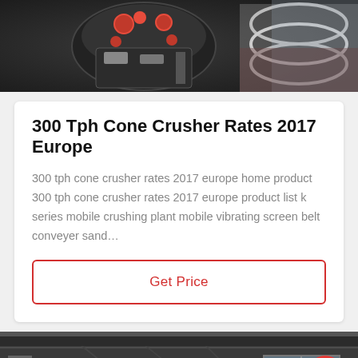[Figure (photo): Industrial cone crusher machinery components with red and metallic parts, close-up view]
300 Tph Cone Crusher Rates 2017 Europe
300 tph cone crusher rates 2017 europe home product 300 tph cone crusher rates 2017 europe product list k series mobile crushing plant mobile vibrating screen belt conveyer sand…
Get Price
[Figure (photo): Industrial factory interior with a large cone crusher machine (white/grey), customer service representative avatar in circular frame with red border, scroll-to-top button, Leave Message and Chat Online footer buttons]